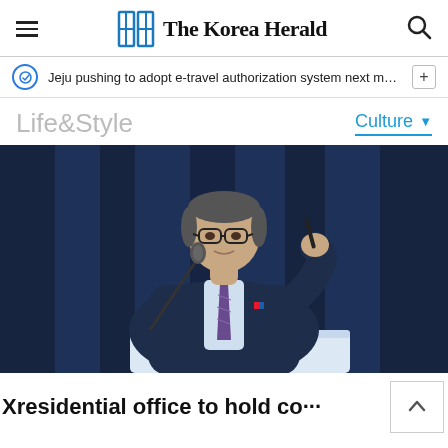The Korea Herald
Jeju pushing to adopt e-travel authorization system next month f···
Life&Style
Culture
[Figure (photo): A man in a dark navy suit with a purple tie stands at a podium with a microphone, holding a pen, speaking at an official event against a dark blue curtain background. He wears glasses and has a small flag pin on his lapel.]
Presidential office to hold co···